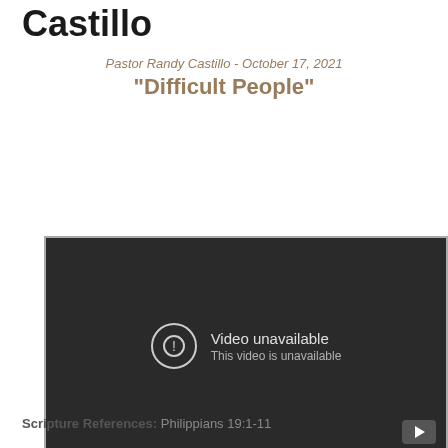Castillo
Pastor Randy Castillo - October 17, 2021
"Difficult People"
[Figure (screenshot): Embedded video player showing 'Video unavailable / This video is unavailable' error message on dark background with YouTube play button icon in corner.]
Watch   Listen
Scripture References: Philippians 19:1-11